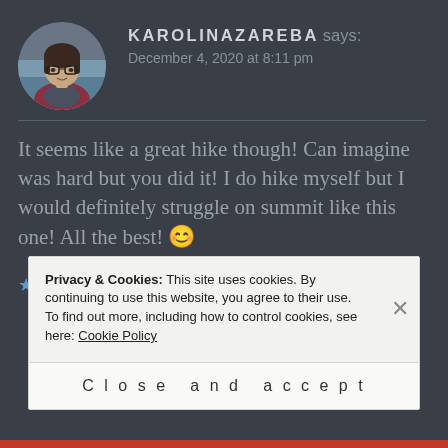[Figure (photo): Circular avatar photo of Karolinazareba — a woman with glasses wearing a dark red jacket, outdoors near water.]
KAROLINAZAREBA says:
December 4, 2020 at 8:11 pm
It seems like a great hike though! Can imagine was hard but you did it! I do hike myself but I would definitely struggle on summit like this one! All the best! 😊
★ Liked by 1 person
Privacy & Cookies: This site uses cookies. By continuing to use this website, you agree to their use.
To find out more, including how to control cookies, see here: Cookie Policy
Close and accept